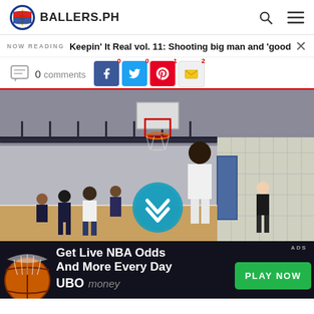BALLERS.PH
NOW READING  Keepin' It Real vol. 11: Shooting big man and 'good stats, bad
0 comments  0  0  1  2
[Figure (photo): Basketball court photo showing a tall player shooting toward the hoop in an indoor gymnasium, with other players and a referee visible]
[Figure (infographic): Advertisement banner: Get Live NBA Odds And More Every Day - UBOmoney - PLAY NOW button]